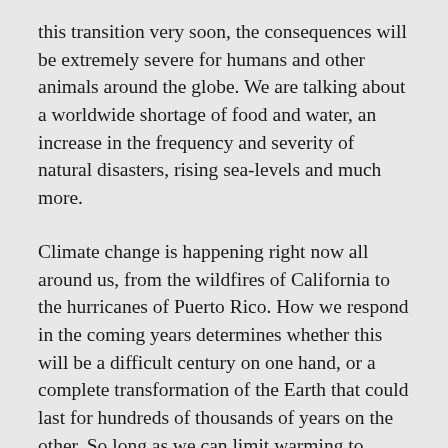this transition very soon, the consequences will be extremely severe for humans and other animals around the globe. We are talking about a worldwide shortage of food and water, an increase in the frequency and severity of natural disasters, rising sea-levels and much more.
Climate change is happening right now all around us, from the wildfires of California to the hurricanes of Puerto Rico. How we respond in the coming years determines whether this will be a difficult century on one hand, or a complete transformation of the Earth that could last for hundreds of thousands of years on the other. So long as we can limit warming to below the levels required to trigger feedback loops, I have faith that humans can ride out the storm relatively unscathed. It is worth remembering, however, that